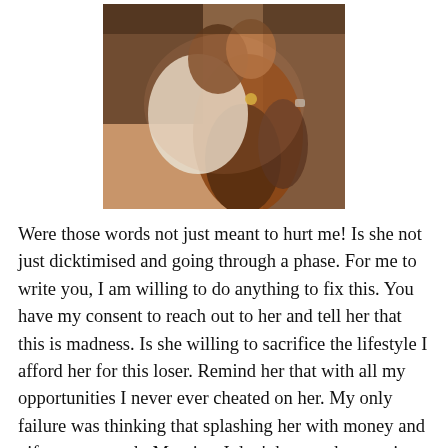[Figure (photo): A couple embracing and kissing closely, a man and woman in an intimate pose, warm toned photograph]
Were those words not just meant to hurt me! Is she not just dicktimised and going through a phase. For me to write you, I am willing to do anything to fix this. You have my consent to reach out to her and tell her that this is madness. Is she willing to sacrifice the lifestyle I afford her for this loser. Remind her that with all my opportunities I never ever cheated on her. My only failure was thinking that splashing her with money and gifts was enough. Maurice, I don't know what magic you will have to perform